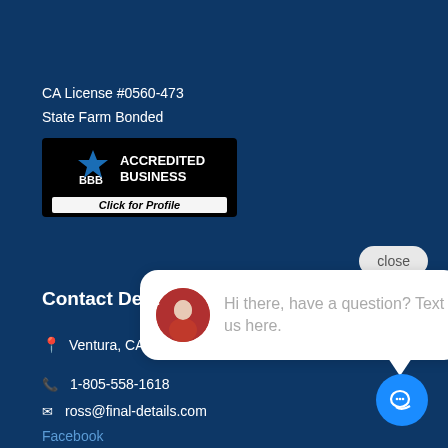CA License #0560-473
State Farm Bonded
[Figure (logo): BBB Accredited Business logo with 'Click for Profile' text below]
[Figure (screenshot): Chat popup with close button, avatar photo of a woman, and message: Hi there, have a question? Text us here.]
Contact Details
Ventura, CA
1-805-558-1618
ross@final-details.com
Facebook